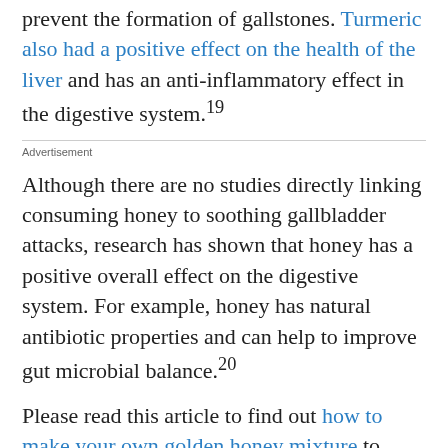prevent the formation of gallstones. Turmeric also had a positive effect on the health of the liver and has an anti-inflammatory effect in the digestive system.19
Advertisement
Although there are no studies directly linking consuming honey to soothing gallbladder attacks, research has shown that honey has a positive overall effect on the digestive system. For example, honey has natural antibiotic properties and can help to improve gut microbial balance.20
Please read this article to find out how to make your own golden honey mixture to improve your digestive system.